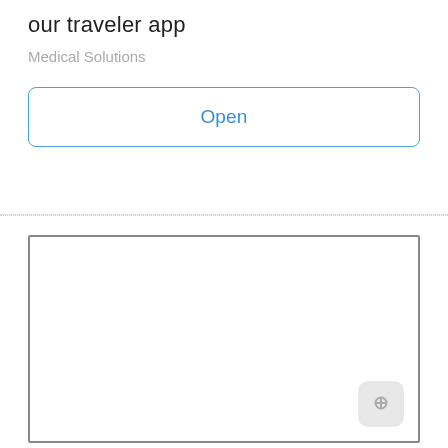our traveler app
Medical Solutions
Open
[Figure (other): Empty photo upload box with a camera/add photo icon in the bottom right corner]